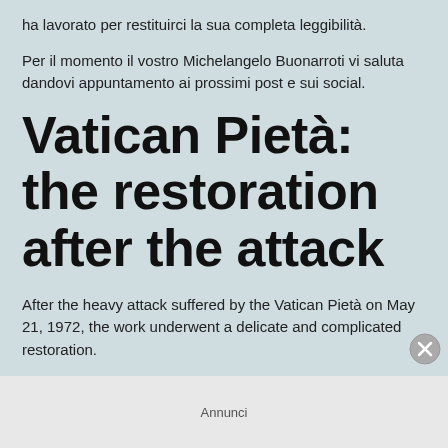ha lavorato per restituirci la sua completa leggibilità.
Per il momento il vostro Michelangelo Buonarroti vi saluta dandovi appuntamento ai prossimi post e sui social.
Vatican Pietà: the restoration after the attack
After the heavy attack suffered by the Vatican Pietà on May 21, 1972, the work underwent a delicate and complicated restoration.
Annunci